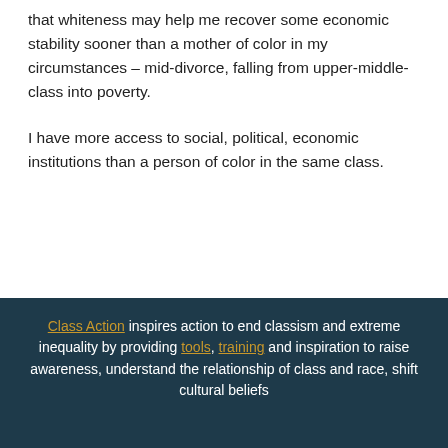that whiteness may help me recover some economic stability sooner than a mother of color in my circumstances – mid-divorce, falling from upper-middle-class into poverty.
I have more access to social, political, economic institutions than a person of color in the same class.
Class Action inspires action to end classism and extreme inequality by providing tools, training and inspiration to raise awareness, understand the relationship of class and race, shift cultural beliefs